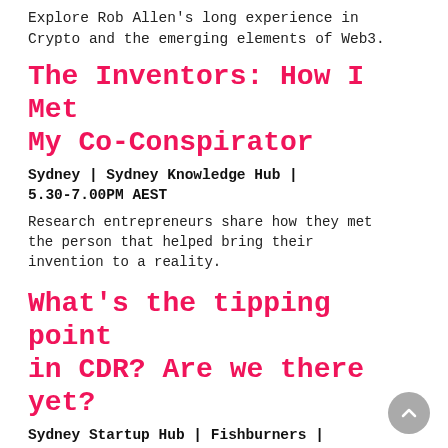Explore Rob Allen's long experience in Crypto and the emerging elements of Web3.
The Inventors: How I Met My Co-Conspirator
Sydney | Sydney Knowledge Hub | 5.30-7.00PM AEST
Research entrepreneurs share how they met the person that helped bring their invention to a reality.
What's the tipping point in CDR? Are we there yet?
Sydney Startup Hub | Fishburners | 5.30-8.00PM AEST
Join an evening of insights hosted by